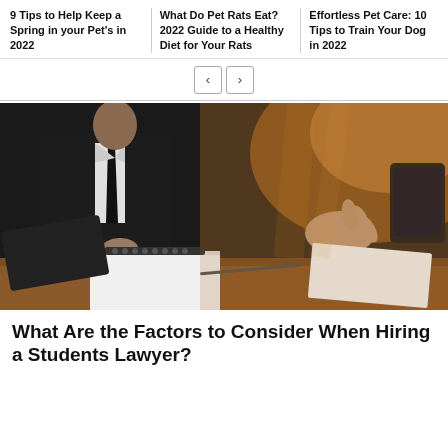9 Tips to Help Keep a Spring in your Pet's in 2022 | What Do Pet Rats Eat? 2022 Guide to a Healthy Diet for Your Rats | Effortless Pet Care: 10 Tips to Train Your Dog in 2022
[Figure (photo): Two business professionals at a desk meeting. One in a dark suit holding a pen, the other with hand gesturing. A spiral notebook, papers, and a tablet on a wooden desk. Warm sunlight in background.]
What Are the Factors to Consider When Hiring a Students Lawyer?